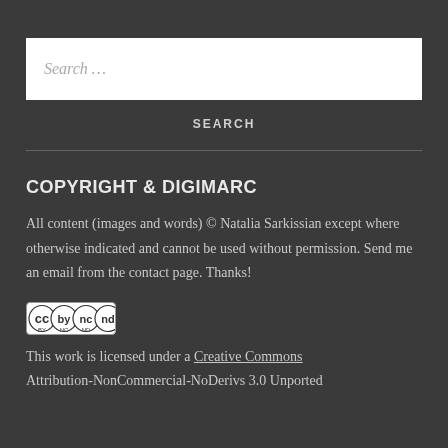Search …
SEARCH
COPYRIGHT & DIGIMARC
All content (images and words) © Natalia Sarkissian except where otherwise indicated and cannot be used without permission. Send me an email from the contact page. Thanks!
[Figure (logo): Creative Commons BY NC ND license badge]
This work is licensed under a Creative Commons
Attribution-NonCommercial-NoDerivs 3.0 Unported